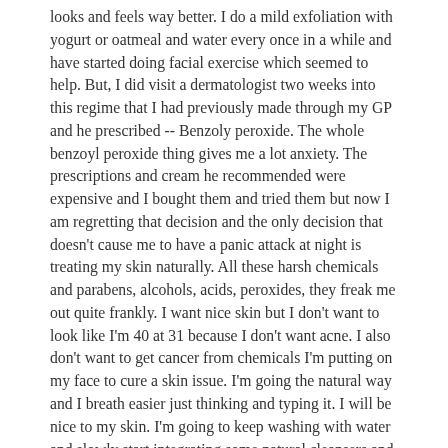looks and feels way better. I do a mild exfoliation with yogurt or oatmeal and water every once in a while and have started doing facial exercise which seemed to help. But, I did visit a dermatologist two weeks into this regime that I had previously made through my GP and he prescribed -- Benzoly peroxide. The whole benzoyl peroxide thing gives me a lot anxiety. The prescriptions and cream he recommended were expensive and I bought them and tried them but now I am regretting that decision and the only decision that doesn't cause me to have a panic attack at night is treating my skin naturally. All these harsh chemicals and parabens, alcohols, acids, peroxides, they freak me out quite frankly. I want nice skin but I don't want to look like I'm 40 at 31 because I don't want acne. I also don't want to get cancer from chemicals I'm putting on my face to cure a skin issue. I'm going the natural way and I breath easier just thinking and typing it. I will be nice to my skin. I'm going to keep washing with water and slowly start integrating some natural cleansers and moisturizers back into my regime.